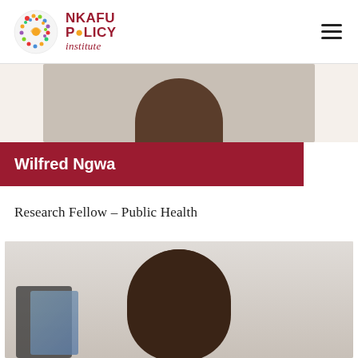Nkafu Policy Institute
[Figure (photo): Cropped top portion of a person's photo against a light beige background]
Wilfred Ngwa
Research Fellow – Public Health
[Figure (photo): Portrait photo of Wilfred Ngwa, a man, with a monitor/screen visible to the left side]